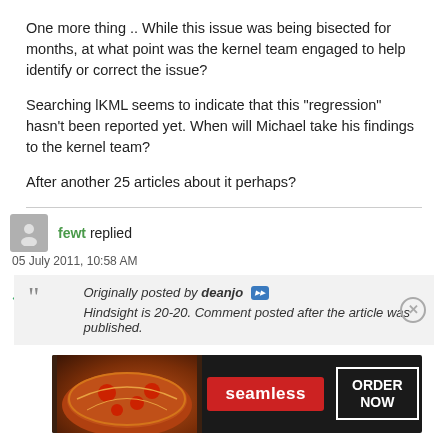One more thing .. While this issue was being bisected for months, at what point was the kernel team engaged to help identify or correct the issue?
Searching lKML seems to indicate that this "regression" hasn't been reported yet. When will Michael take his findings to the kernel team?
After another 25 articles about it perhaps?
fewt replied
05 July 2011, 10:58 AM
Originally posted by deanjo
Hindsight is 20-20. Comment posted after the article was published.
[Figure (other): Advertisement banner for Seamless food ordering service showing pizza image on left, red Seamless logo button in center, and ORDER NOW button with white border on right, all on dark background.]